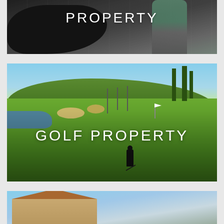[Figure (photo): Dark photo showing a horse and a person in a green shirt, partially cropped, with text overlay reading PROPERTY]
PROPERTY
[Figure (photo): Golf course photo showing green fairways, water hazard, bunkers, tall pines, and a lone golfer silhouette with GOLF PROPERTY text overlay]
GOLF PROPERTY
[Figure (photo): Partial photo at bottom showing a building with orange roof against blue sky]
We're online now